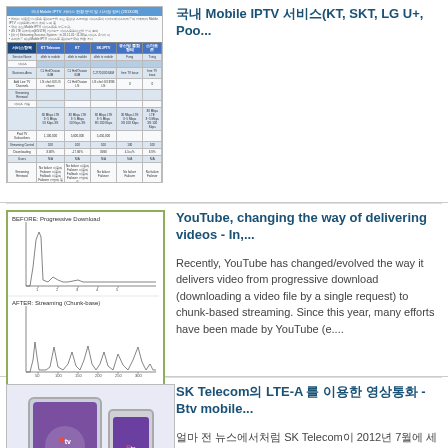[Figure (table-as-image): Korean Mobile IPTV service comparison table thumbnail showing providers KT, SKT, LG U+, Pooq with various service features]
국내 Mobile IPTV 서비스(KT, SKT, LG U+, Poo...
[Figure (continuous-plot): Two waveform charts: BEFORE Progressive Download and AFTER Streaming (Chunk-base) showing network traffic patterns]
YouTube, changing the way of delivering videos - In,...
Recently, YouTube has changed/evolved the way it delivers video from progressive download (downloading a video file by a single request) to chunk-based streaming. Since this year, many efforts have been made by YouTube (e....
[Figure (photo): Btv mobile app icon and smartphone showing mobile TV service]
SK Telecom의 LTE-A 를 이용한 영상통화 - Btv mobile...
얼마 전 뉴스에서처럼 SK Telecom이 2012년 7월에 세계에서 첫 번째로 상용화에 성공한 VoD... 의 영상화 통화를 "Full HD" 수준까지 지원하겠다는 계획입니다. 이에 더하 여서 SK Telecom이 이번... Full HD의 영상통화를 위해서만이 아니라 여러 블로그 글에서 볼 수 있는바 2 더하기 2 는 2 더하기 2...